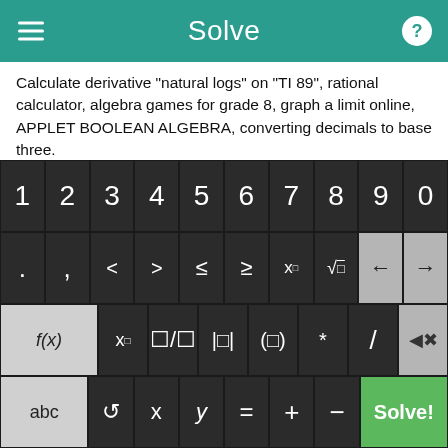Solve
Calculate derivative "natural logs" on "TI 89", rational calculator, algebra games for grade 8, graph a limit online, APPLET BOOLEAN ALGEBRA, converting decimals to base three.
Newton nonlinear matlab, pearson prentice hall algebra games, Printable Negative Exponents Worksheet, Algebra 2 teacher's answer book, online intermediate algebra calculator, simultaneous equations calculator, solve simultaneous quadratic.
Solving non-linear differential equations, order of operations
[Figure (screenshot): On-screen math keyboard with digits 1-9,0; symbols row with ., comma, <, >, ≤, ≥, x^□, √□, back/forward arrows; function row with f(x), x□, fraction, |□|, (□), *, /, delete; bottom row with abc, rotate, x, y, =, +, -, and green Solve! button]